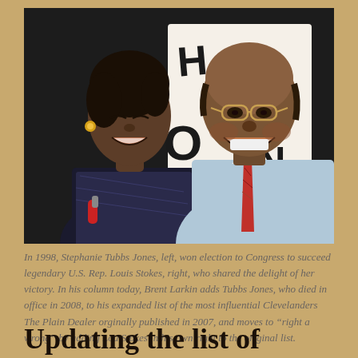[Figure (photo): Black and white photo of two people smiling. On the left is a woman (Stephanie Tubbs Jones) and on the right is an older man wearing glasses (Louis Stokes). They are facing each other and smiling broadly.]
In 1998, Stephanie Tubbs Jones, left, won election to Congress to succeed legendary U.S. Rep. Louis Stokes, right, who shared the delight of her victory. In his column today, Brent Larkin adds Tubbs Jones, who died in office in 2008, to his expanded list of the most influential Clevelanders The Plain Dealer orginally published in 2007, and moves to “right a wrong” by adding Lou Stokes in his own right to the original list.
Updating the list of